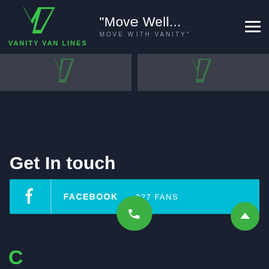[Figure (logo): Vanity Van Lines logo with green V-shaped mark and company name]
"Move Well... MOVE WITH VANITY"
[Figure (photo): Two dark image panels showing partial Vanity Van Lines watermark graphics]
Get In touch
FACEBOOK  227 FANS
Connect Website